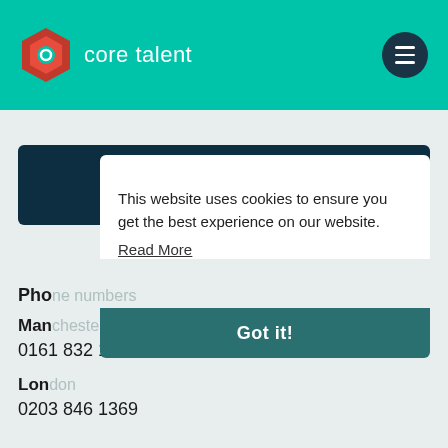[Figure (logo): Core Talent logo — red hexagon icon with teal center and white text 'core talent' on teal header background]
View All Blogs
Phone numbers
Manchester
0161 832 1378
London
0203 846 1369
This website uses cookies to ensure you get the best experience on our website. Read More Got it!